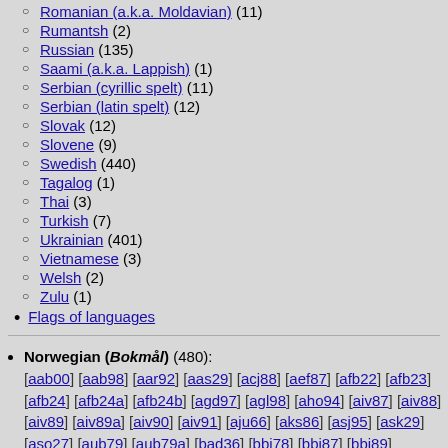Romanian (a.k.a. Moldavian) (11)
Rumantsh (2)
Russian (135)
Saami (a.k.a. Lappish) (1)
Serbian (cyrillic spelt) (11)
Serbian (latin spelt) (12)
Slovak (12)
Slovene (9)
Swedish (440)
Tagalog (1)
Thai (3)
Turkish (7)
Ukrainian (401)
Vietnamese (3)
Welsh (2)
Zulu (1)
Flags of languages
Norwegian (Bokmål) (480): [aab00] [aab98] [aar92] [aas29] [acj88] [aef87] [afb22] [afb23] [afb24] [afb24a] [afb24b] [agd97] [agl98] [aho94] [aiv87] [aiv88] [aiv89] [aiv89a] [aiv90] [aiv91] [aju66] [aks86] [asj95] [ask29] [aso27] [aub79] [aub79a] [bad36] [bbj78] [bbj87] [bbj89] [bbj89a] [bbj89b] [bbj89c] [bbj89d]